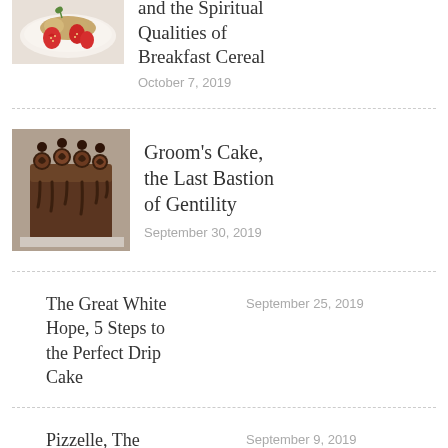[Figure (photo): Granola with strawberries on a white plate]
Soul, Granola, and the Spiritual Qualities of Breakfast Cereal
October 7, 2019
[Figure (photo): Chocolate drip cake with chocolate decorations]
Groom’s Cake, the Last Bastion of Gentility
September 30, 2019
The Great White Hope, 5 Steps to the Perfect Drip Cake
September 25, 2019
Pizzelle, The Cookie from Limbo
September 9, 2019
Brown Betty,
August 19, 2019